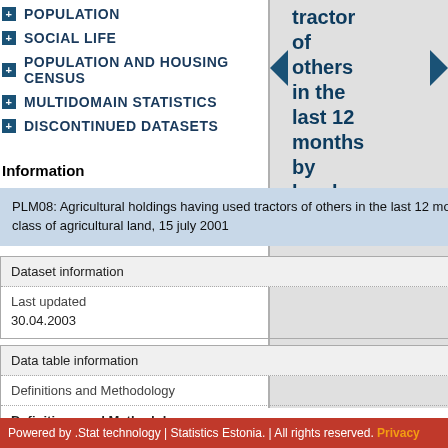POPULATION
SOCIAL LIFE
POPULATION AND HOUSING CENSUS
MULTIDOMAIN STATISTICS
DISCONTINUED DATASETS
[Figure (other): Right-side scrollable panel showing truncated text: 'tractors of others in the last 12 months by legal' with left/right navigation arrows]
Information
PLM08: Agricultural holdings having used tractors of others in the last 12 months by legal form of holder and size class of agricultural land, 15 july 2001
| Dataset information |
| --- |
| Last updated |
| 30.04.2003 |
| Data table information |
| --- |
| Definitions and Methodology |
| Definitions and Methodology |
Powered by .Stat technology | Statistics Estonia. | All rights reserved. Privacy